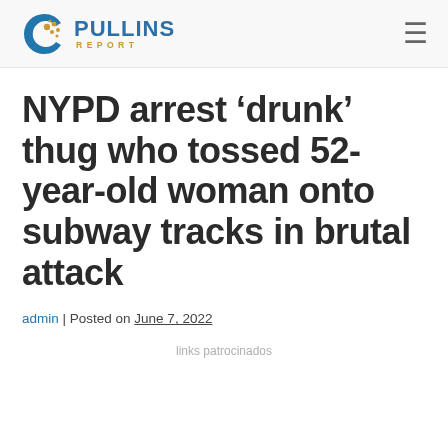Pullins Report
NYPD arrest ‘drunk’ thug who tossed 52-year-old woman onto subway tracks in brutal attack
admin | Posted on June 7, 2022
links patrocinados